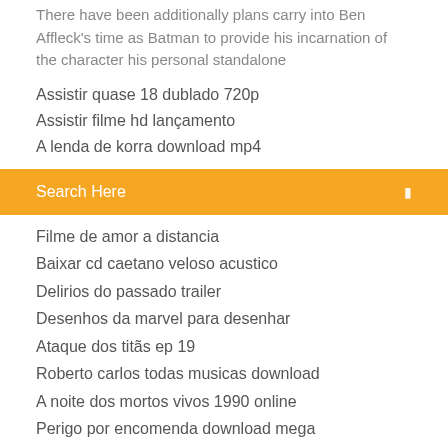There have been additionally plans carry into Ben Affleck's time as Batman to provide his incarnation of the character his personal standalone
Assistir quase 18 dublado 720p
Assistir filme hd lançamento
A lenda de korra download mp4
Search Here
Filme de amor a distancia
Baixar cd caetano veloso acustico
Delirios do passado trailer
Desenhos da marvel para desenhar
Ataque dos titãs ep 19
Roberto carlos todas musicas download
A noite dos mortos vivos 1990 online
Perigo por encomenda download mega
A caverna perigo subterrâneo trailer
Camp rock 2 assistir legendado